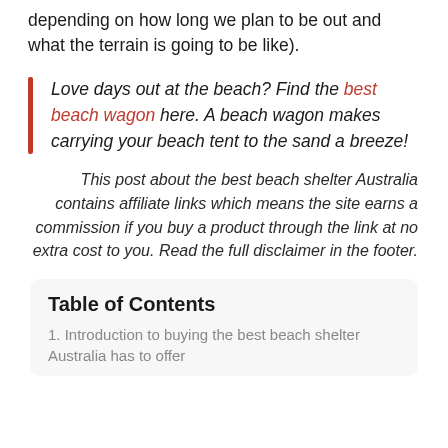depending on how long we plan to be out and what the terrain is going to be like).
Love days out at the beach? Find the best beach wagon here. A beach wagon makes carrying your beach tent to the sand a breeze!
This post about the best beach shelter Australia contains affiliate links which means the site earns a commission if you buy a product through the link at no extra cost to you. Read the full disclaimer in the footer.
Table of Contents
1. Introduction to buying the best beach shelter Australia has to offer